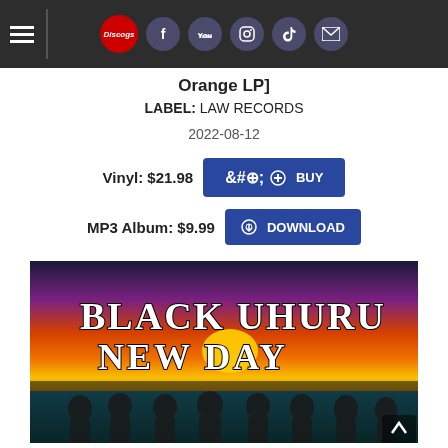Navigation header with Discogs logo and social media icons (Facebook, YouTube, Instagram, TikTok, Email)
Orange LP]
LABEL: LAW RECORDS
2022-08-12
Vinyl: $21.98  + BUY
MP3 Album: $9.99  DOWNLOAD
[Figure (illustration): Album cover for Black Uhuru - New Day, showing the band members standing in front of a sunset with colorful orange and red sky. Text reads BLACK UHURU NEW DAY in large stylized white letters.]